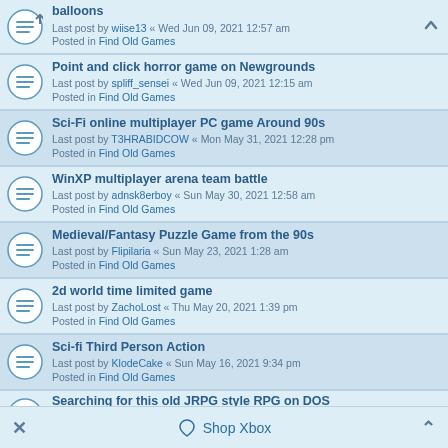balloons
Last post by wiise13 « Wed Jun 09, 2021 12:57 am
Posted in Find Old Games
Point and click horror game on Newgrounds
Last post by spliff_sensei « Wed Jun 09, 2021 12:15 am
Posted in Find Old Games
Sci-Fi online multiplayer PC game Around 90s
Last post by T3HRABIDCOW « Mon May 31, 2021 12:28 pm
Posted in Find Old Games
WinXP multiplayer arena team battle
Last post by adnsk8erboy « Sun May 30, 2021 12:58 am
Posted in Find Old Games
Medieval/Fantasy Puzzle Game from the 90s
Last post by Flipilaria « Sun May 23, 2021 1:28 am
Posted in Find Old Games
2d world time limited game
Last post by ZachoLost « Thu May 20, 2021 1:39 pm
Posted in Find Old Games
Sci-fi Third Person Action
Last post by KlodeCake « Sun May 16, 2021 9:34 pm
Posted in Find Old Games
Searching for this old JRPG style RPG on DOS
Last post by bg_Zero « Sun May 09, 2021 1:57 pm
Posted in Find Old Games
Shop Xbox